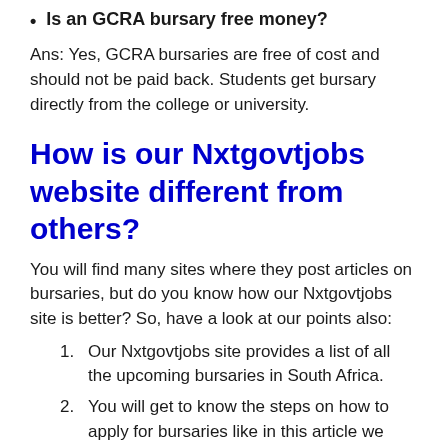Is an GCRA bursary free money?
Ans: Yes, GCRA bursaries are free of cost and should not be paid back. Students get bursary directly from the college or university.
How is our Nxtgovtjobs website different from others?
You will find many sites where they post articles on bursaries, but do you know how our Nxtgovtjobs site is better? So, have a look at our points also:
Our Nxtgovtjobs site provides a list of all the upcoming bursaries in South Africa.
You will get to know the steps on how to apply for bursaries like in this article we explain on GCRA Bursary.
You will be notified of the arrival of any new